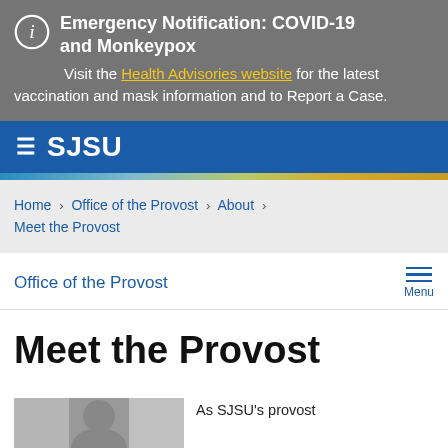Emergency Notification: COVID-19 and Monkeypox
Visit the Health Advisories website for the latest vaccination and mask information and to Report a Case.
SJSU
Home › Office of the Provost › About › Meet the Provost
Office of the Provost
Meet the Provost
[Figure (photo): Photo of the SJSU Provost]
As SJSU's provost